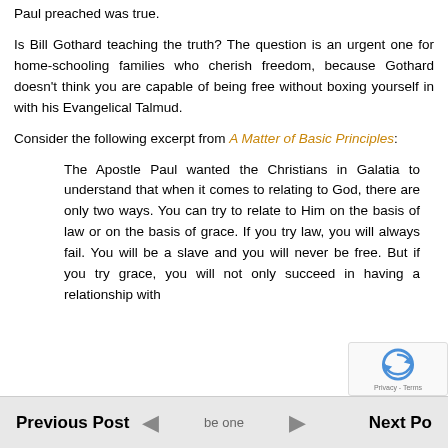Paul preached was true.
Is Bill Gothard teaching the truth? The question is an urgent one for home-schooling families who cherish freedom, because Gothard doesn't think you are capable of being free without boxing yourself in with his Evangelical Talmud.
Consider the following excerpt from A Matter of Basic Principles:
The Apostle Paul wanted the Christians in Galatia to understand that when it comes to relating to God, there are only two ways. You can try to relate to Him on the basis of law or on the basis of grace. If you try law, you will always fail. You will be a slave and you will never be free. But if you try grace, you will not only succeed in having a relationship with
Previous Post   Next Post